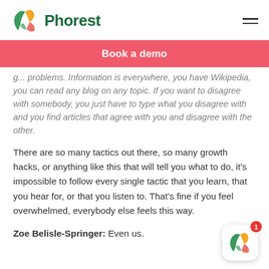Phorest
Book a demo
g... problems. Information is everywhere, you have Wikipedia, you can read any blog on any topic. If you want to disagree with somebody, you just have to type what you disagree with and you find articles that agree with you and disagree with the other.
There are so many tactics out there, so many growth hacks, or anything like this that will tell you what to do, it's impossible to follow every single tactic that you learn, that you hear for, or that you listen to. That's fine if you feel overwhelmed, everybody else feels this way.
Zoe Belisle-Springer: Even us.
[Figure (logo): Phorest app icon with notification badge showing 1]